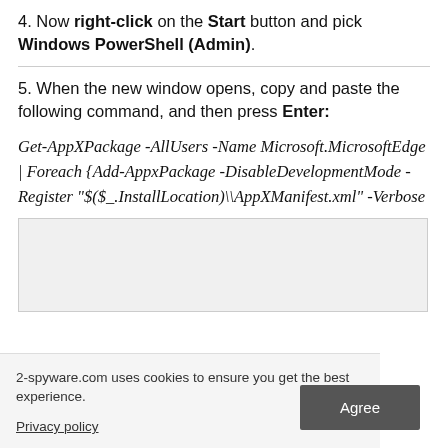4. Now right-click on the Start button and pick Windows PowerShell (Admin).
5. When the new window opens, copy and paste the following command, and then press Enter:
Get-AppXPackage -AllUsers -Name Microsoft.MicrosoftEdge | Foreach {Add-AppxPackage -DisableDevelopmentMode -Register "$($_.InstallLocation)\AppXManifest.xml" -Verbose
[Figure (screenshot): Screenshot placeholder box showing a grey area]
2-spyware.com uses cookies to ensure you get the best experience.
Privacy policy